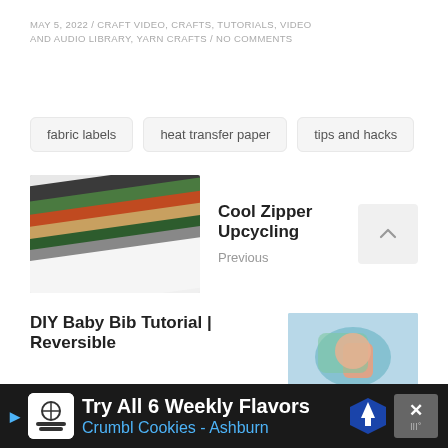MAY 5, 2022 / CRAFT VIDEO, CRAFTS, TUTORIALS, VIDEO AND AUDIO LIBRARY, YARN CRAFTS / NO COMMENTS
fabric labels
heat transfer paper
tips and hacks
[Figure (photo): Colorful zippers fanned out, showing black, green, orange, tan and other colored zippers]
Cool Zipper Upcycling
Previous
DIY Baby Bib Tutorial | Reversible
[Figure (photo): Baby bib with blue and green fabric being held]
Try All 6 Weekly Flavors Crumbl Cookies - Ashburn